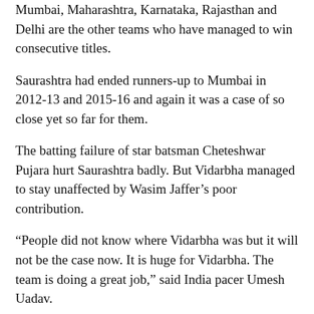Mumbai, Maharashtra, Karnataka, Rajasthan and Delhi are the other teams who have managed to win consecutive titles.
Saurashtra had ended runners-up to Mumbai in 2012-13 and 2015-16 and again it was a case of so close yet so far for them.
The batting failure of star batsman Cheteshwar Pujara hurt Saurashtra badly. But Vidarbha managed to stay unaffected by Wasim Jaffer's poor contribution.
“People did not know where Vidarbha was but it will not be the case now. It is huge for Vidarbha. The team is doing a great job,” said India pacer Umesh Uadav.
“I never thought I will win two titles with Vidarbha after playing 10 finals (eight with Mumbai),” gushed veteran Jaffer.
Earlier, for Saurashtra Makvana and Vishvaraj were not afraid to